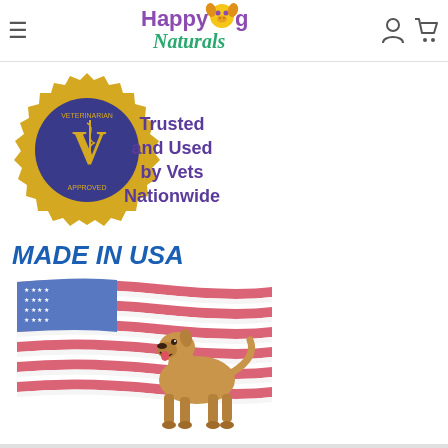Happy Dog Naturals - navigation header with hamburger menu, logo, account and cart icons
[Figure (logo): Veterinarian Approved gold and blue seal badge with text 'Trusted and Used by Vets Nationwide' in purple on the right]
[Figure (illustration): Made in USA banner with American flag and a tan/brown dog standing proudly, with bold blue italic text 'MADE IN USA' above]